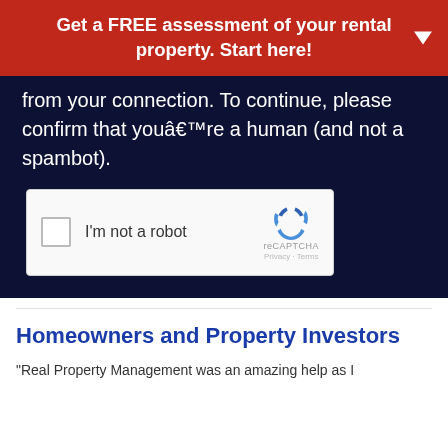Get a FREE assessment of your rental property. Start here!
from your connection. To continue, please confirm that youâ€™re a human (and not a spambot).
[Figure (other): reCAPTCHA widget with checkbox labeled I'm not a robot]
Homeowners and Property Investors
“Real Property Management was an amazing help as I